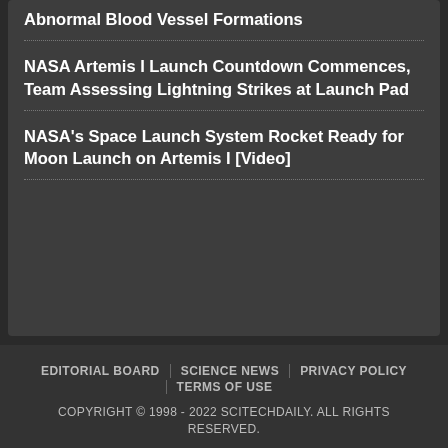Abnormal Blood Vessel Formations
NASA Artemis I Launch Countdown Commences, Team Assessing Lightning Strikes at Launch Pad
NASA's Space Launch System Rocket Ready for Moon Launch on Artemis I [Video]
EDITORIAL BOARD | SCIENCE NEWS | PRIVACY POLICY | TERMS OF USE
COPYRIGHT © 1998 - 2022 SCITECHDAILY. ALL RIGHTS RESERVED.
[Figure (screenshot): Advertisement section with search interface showing: 'Search for', '1. FREE INTERNET TV STREAMING', '2. MAKE AN APPOINTMENT', 'Ad | Cellphone Guru']